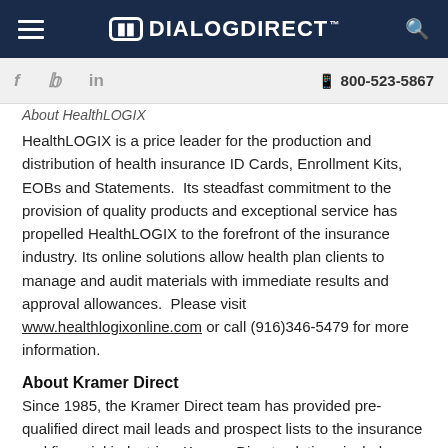DIALOGDIRECT
f  in  800-523-5867
About HealthLOGIX
HealthLOGIX is a price leader for the production and distribution of health insurance ID Cards, Enrollment Kits, EOBs and Statements.  Its steadfast commitment to the provision of quality products and exceptional service has propelled HealthLOGIX to the forefront of the insurance industry. Its online solutions allow health plan clients to manage and audit materials with immediate results and approval allowances.  Please visit www.healthlogixonline.com or call (916)346-5479 for more information.
About Kramer Direct
Since 1985, the Kramer Direct team has provided pre-qualified direct mail leads and prospect lists to the insurance and financial industries. Kramer Direct solutions include...